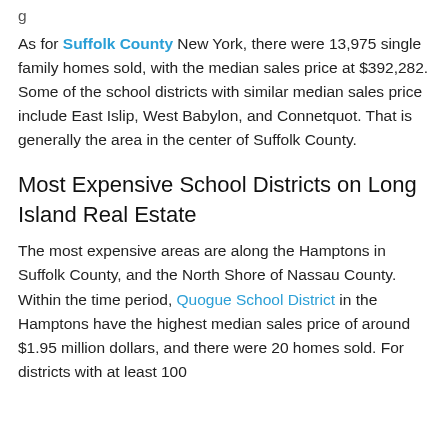As for Suffolk County New York, there were 13,975 single family homes sold, with the median sales price at $392,282. Some of the school districts with similar median sales price include East Islip, West Babylon, and Connetquot. That is generally the area in the center of Suffolk County.
Most Expensive School Districts on Long Island Real Estate
The most expensive areas are along the Hamptons in Suffolk County, and the North Shore of Nassau County. Within the time period, Quogue School District in the Hamptons have the highest median sales price of around $1.95 million dollars, and there were 20 homes sold. For districts with at least 100...